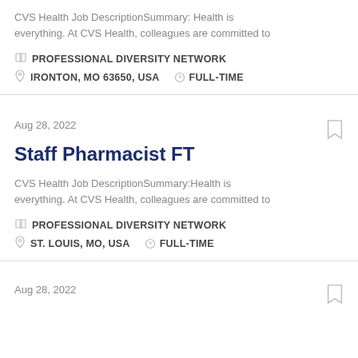CVS Health Job DescriptionSummary: Health is everything. At CVS Health, colleagues are committed to
PROFESSIONAL DIVERSITY NETWORK
IRONTON, MO 63650, USA   FULL-TIME
Aug 28, 2022
Staff Pharmacist FT
CVS Health Job DescriptionSummary:Health is everything. At CVS Health, colleagues are committed to
PROFESSIONAL DIVERSITY NETWORK
ST. LOUIS, MO, USA   FULL-TIME
Aug 28, 2022